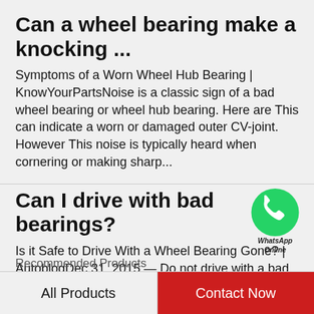Can a wheel bearing make a knocking ...
Symptoms of a Worn Wheel Hub Bearing | KnowYourPartsNoise is a classic sign of a bad wheel bearing or wheel hub bearing. Here are This can indicate a worn or damaged outer CV-joint. However This noise is typically heard when cornering or making sharp...
Can I drive with bad bearings?
[Figure (logo): WhatsApp green circle logo with phone icon, labeled 'WhatsApp Online']
Is it Safe to Drive With a Wheel Bearing Gone? | AutoblogDec 31, 2015 — Do not drive with a bad wheel bearing or a wheel bearing that's missing. The wheel bearing is an essential part of your vehicle that helps keep  Is it dangerous...
Recommended Products
All Products
Contact Now